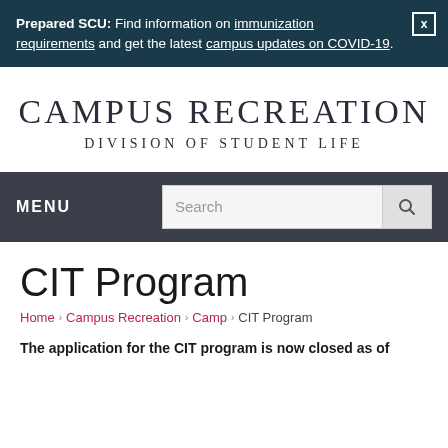Prepared SCU: Find information on immunization requirements and get the latest campus updates on COVID-19.
[Figure (logo): Campus Recreation – Division of Student Life logo/wordmark]
MENU | Search
CIT Program
Home › Campus Recreation › Camp › CIT Program
The application for the CIT program is now closed as of